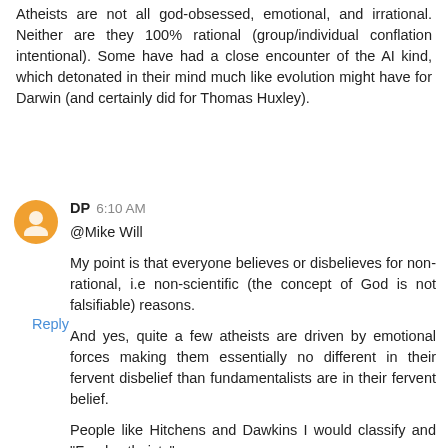Atheists are not all god-obsessed, emotional, and irrational. Neither are they 100% rational (group/individual conflation intentional). Some have had a close encounter of the AI kind, which detonated in their mind much like evolution might have for Darwin (and certainly did for Thomas Huxley).
Reply
DP  6:10 AM
@Mike Will
My point is that everyone believes or disbelieves for non-rational, i.e non-scientific (the concept of God is not falsifiable) reasons.
And yes, quite a few atheists are driven by emotional forces making them essentially no different in their fervent disbelief than fundamentalists are in their fervent belief.
People like Hitchens and Dawkins I would classify and "Fundy atheists".